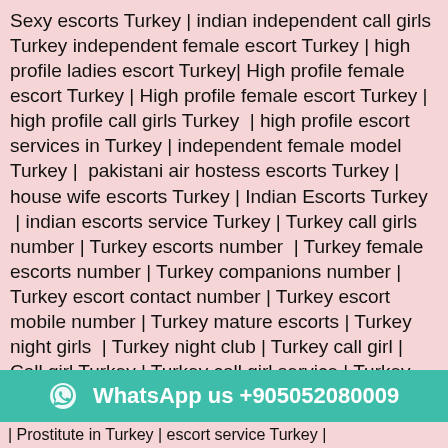Sexy escorts Turkey | indian independent call girls Turkey independent female escort Turkey | high profile ladies escort Turkey| High profile female escort Turkey | High profile female escort Turkey | high profile call girls Turkey  | high profile escort services in Turkey | independent female model Turkey |  pakistani air hostess escorts Turkey | house wife escorts Turkey | Indian Escorts Turkey  | indian escorts service Turkey | Turkey call girls number | Turkey escorts number  | Turkey female escorts number | Turkey companions number | Turkey escort contact number | Turkey escort mobile number | Turkey mature escorts | Turkey night girls  | Turkey night club | Turkey call girl | Call girl Turkey | Turkey call girl service | Turkey independent escorts  | Turkey call girl escorts | indian call girls Turkey | Turkey models escorts service | outcall escorts agency Turkey  | independent models in
[Figure (other): WhatsApp contact bar with teal background showing WhatsApp icon and number: WhatsApp us +905052080009]
| Prostitute in Turkey | escort service Turkey |